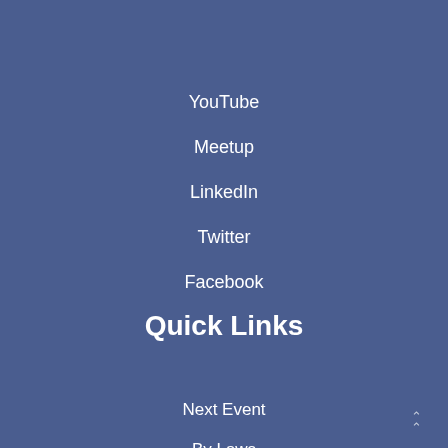YouTube
Meetup
LinkedIn
Twitter
Facebook
Quick Links
Next Event
By Laws